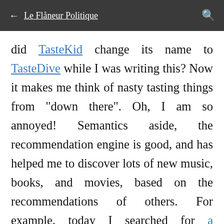← Le Flâneur Politique [search icon]
did TasteKid change its name to TasteDive while I was writing this? Now it makes me think of nasty tasting things from "down there". Oh, I am so annoyed! Semantics aside, the recommendation engine is good, and has helped me to discover lots of new music, books, and movies, based on the recommendations of others. For example, today I searched for a composer like Richard Wagner, and discovered the Russian composer Alexander Scriabin. Whether the similarities would pass scrutiny is not the point. The recommendations provide opportunities to look beyond our own